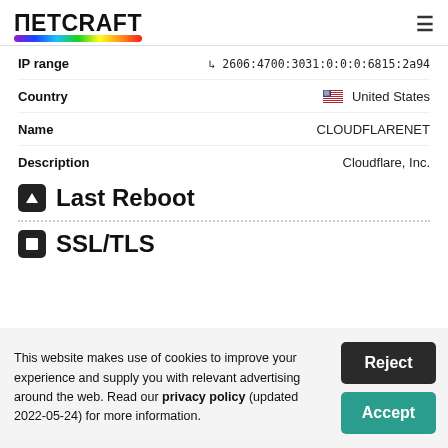Netcraft
| Field | Value |
| --- | --- |
| IP range | ↳ 2606:4700:3031:0:0:0:6815:2a94 |
| Country | 🇺🇸 United States |
| Name | CLOUDFLARENET |
| Description | Cloudflare, Inc. |
Last Reboot
SSL/TLS
This website makes use of cookies to improve your experience and supply you with relevant advertising around the web. Read our privacy policy (updated 2022-05-24) for more information.